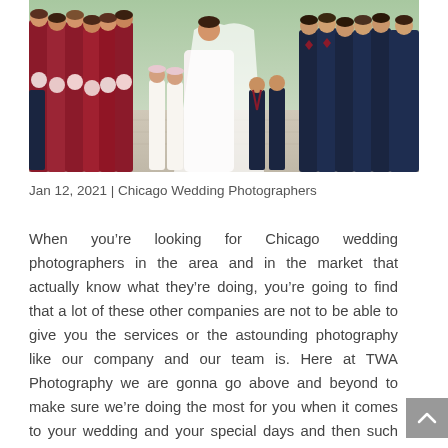[Figure (photo): Wedding party group photo: bridesmaids in red/burgundy gowns holding bouquets on the left, bride in white gown with veil in the center, flower girls in white dresses with floral crowns, ring bearers in dark suits with bow ties, and groomsmen in dark navy suits on the right, standing on an outdoor stone patio.]
Jan 12, 2021 | Chicago Wedding Photographers
When you’re looking for Chicago wedding photographers in the area and in the market that actually know what they’re doing, you’re going to find that a lot of these other companies are not to be able to give you the services or the astounding photography like our company and our team is. Here at TWA Photography we are gonna go above and beyond to make sure we’re doing the most for you when it comes to your wedding and your special days and then such are looking to book with us because we want to make sure our photographers know what to do